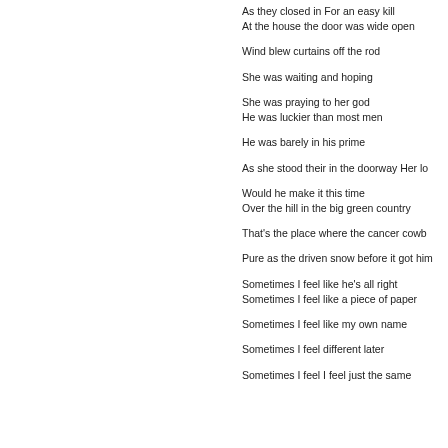As they closed in For an easy kill
At the house the door was wide open

Wind blew curtains off the rod

She was waiting and hoping

She was praying to her god
He was luckier than most men

He was barely in his prime

As she stood their in the doorway Her lo

Would he make it this time
Over the hill in the big green country

That's the place where the cancer cowb

Pure as the driven snow before it got him

Sometimes I feel like he's all right
Sometimes I feel like a piece of paper

Sometimes I feel like my own name

Sometimes I feel different later

Sometimes I feel I feel just the same